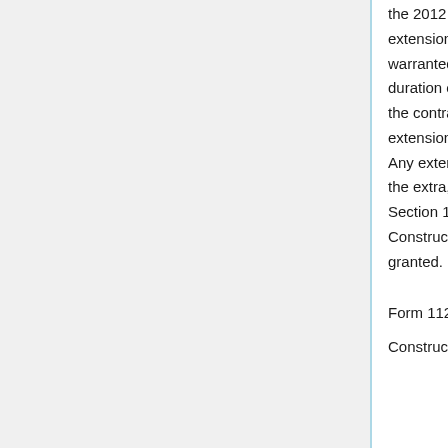the 2012 Standard Specifications for Construction. Include extensions of time in the contract modification, when warranted, and if it can be determined at that point. If the duration of the extension of time cannot be determined when the contract modification is prepared, document whether an extension of time is warranted on the contract modification. Any extension of time will be determined upon completion of the extra, additional, or adjusted work. In all cases, use Section 108 of the 2012 Standard Specifications for Construction to determine the extension of time to be granted.
Form 1120 Submittal to the FHWA
Construction staff are to submit Form